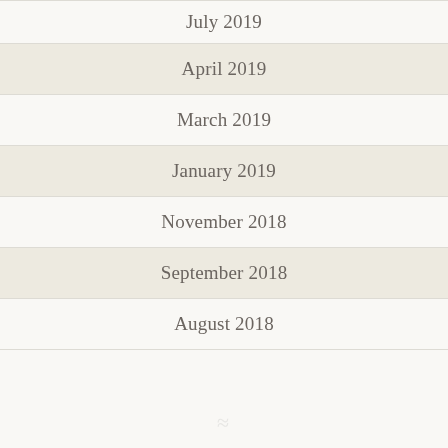July 2019
April 2019
March 2019
January 2019
November 2018
September 2018
August 2018